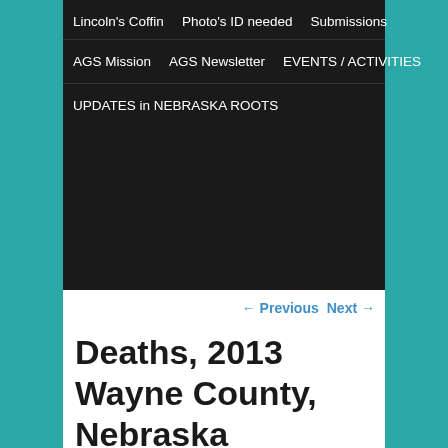Lincoln's Coffin   Photo's ID needed   Submissions
AGS Mission   AGS Newsletter   EVENTS / ACTIVITIES
UPDATES in NEBRASKA ROOTS
← Previous   Next →
Deaths, 2013 Wayne County, Nebraska
Posted on January 6, 2013
Please contact Allied Genealogical Search for more information on the listings here.
Death and Funeral Notices in the Norfolk Daily News, Norfolk, Nebraska